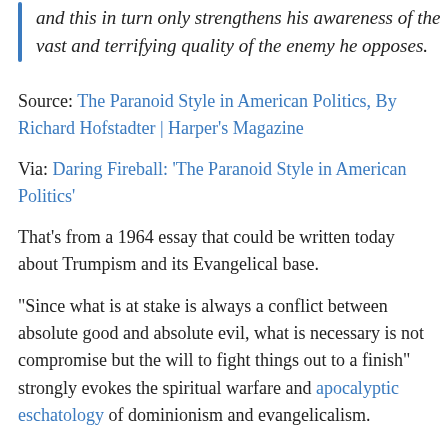and this in turn only strengthens his awareness of the vast and terrifying quality of the enemy he opposes.
Source: The Paranoid Style in American Politics, By Richard Hofstadter | Harper's Magazine
Via: Daring Fireball: 'The Paranoid Style in American Politics'
That's from a 1964 essay that could be written today about Trumpism and its Evangelical base.
“Since what is at stake is always a conflict between absolute good and absolute evil, what is necessary is not compromise but the will to fight things out to a finish” strongly evokes the spiritual warfare and apocalyptic eschatology of dominionism and evangelicalism.